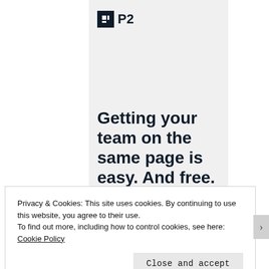[Figure (logo): P2 logo — dark square icon with stylized letter on left, bold text 'P2' on right]
Getting your team on the same page is easy. And free.
Privacy & Cookies: This site uses cookies. By continuing to use this website, you agree to their use.
To find out more, including how to control cookies, see here: Cookie Policy